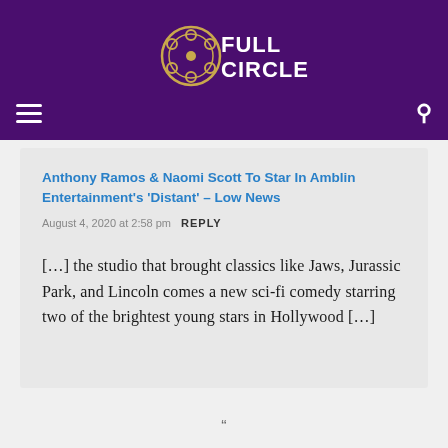[Figure (logo): Full Circle film reel logo in gold/yellow on purple background with text FULL CIRCLE]
Anthony Ramos & Naomi Scott To Star In Amblin Entertainment's 'Distant' – Low News
August 4, 2020 at 2:58 pm  REPLY
[…] the studio that brought classics like Jaws, Jurassic Park, and Lincoln comes a new sci-fi comedy starring two of the brightest young stars in Hollywood […]